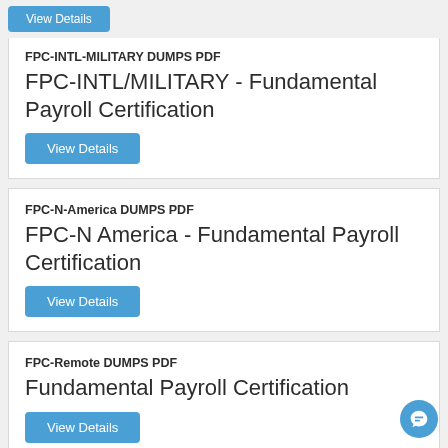View Details (top button, partially visible)
FPC-INTL-MILITARY DUMPS PDF
FPC-INTL/MILITARY - Fundamental Payroll Certification
View Details
FPC-N-America DUMPS PDF
FPC-N America - Fundamental Payroll Certification
View Details
FPC-Remote DUMPS PDF
Fundamental Payroll Certification
View Details